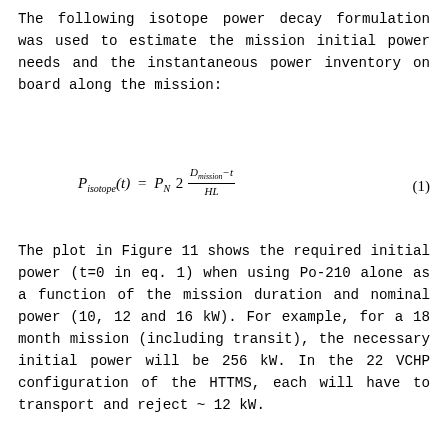The following isotope power decay formulation was used to estimate the mission initial power needs and the instantaneous power inventory on board along the mission:
The plot in Figure 11 shows the required initial power (t=0 in eq. 1) when using Po-210 alone as a function of the mission duration and nominal power (10, 12 and 16 kW). For example, for a 18 month mission (including transit), the necessary initial power will be 256 kW. In the 22 VCHP configuration of the HTTMS, each will have to transport and reject ~ 12 kW.